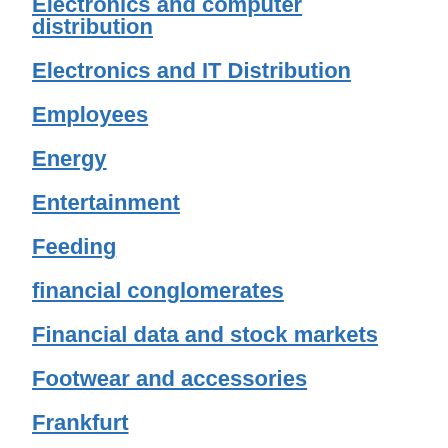Electronics and computer distribution
Electronics and IT Distribution
Employees
Energy
Entertainment
Feeding
financial conglomerates
Financial data and stock markets
Footwear and accessories
Frankfurt
fuels
game activities
ghost company
Health care